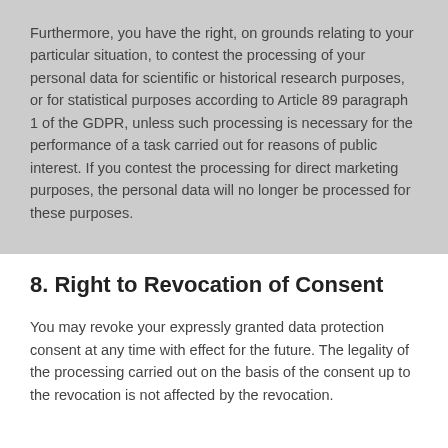Furthermore, you have the right, on grounds relating to your particular situation, to contest the processing of your personal data for scientific or historical research purposes, or for statistical purposes according to Article 89 paragraph 1 of the GDPR, unless such processing is necessary for the performance of a task carried out for reasons of public interest. If you contest the processing for direct marketing purposes, the personal data will no longer be processed for these purposes.
8. Right to Revocation of Consent
You may revoke your expressly granted data protection consent at any time with effect for the future. The legality of the processing carried out on the basis of the consent up to the revocation is not affected by the revocation.